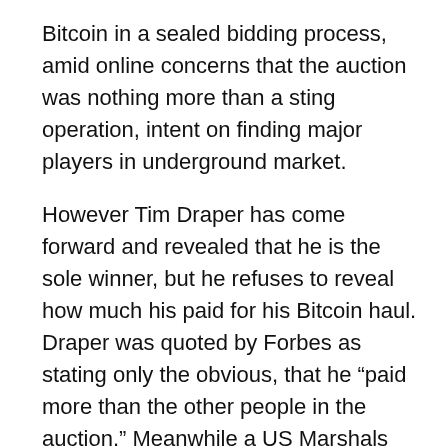Bitcoin in a sealed bidding process, amid online concerns that the auction was nothing more than a sting operation, intent on finding major players in underground market.
However Tim Draper has come forward and revealed that he is the sole winner, but he refuses to reveal how much his paid for his Bitcoin haul. Draper was quoted by Forbes as stating only the obvious, that he "paid more than the other people in the auction." Meanwhile a US Marshals spokesperson, said that 45 bidders had made 63 bids.
“Bitcoin frees people from trying to operate in